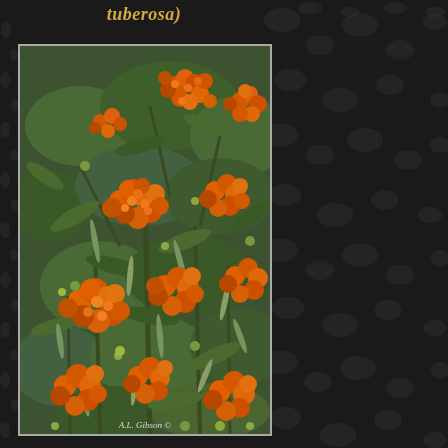tuberosa)
[Figure (photo): Close-up photograph of Asclepias tuberosa (butterfly weed) showing clusters of bright orange flowers and green foliage. Multiple blooms visible throughout the plant. Watermark reads 'A.L. Gibson ©']
A.L. Gibson ©